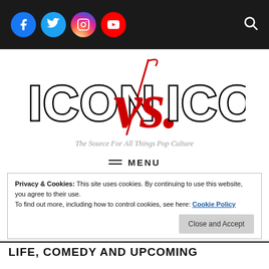[Figure (logo): Top black navigation bar with social media icons (Facebook, Twitter, Instagram, YouTube) and search icon]
[Figure (logo): ICON VS. ICON logo — bold block letters with red stylized 'vs.' script in the center]
The Source For All Things Pop Culture
MENU
Privacy & Cookies: This site uses cookies. By continuing to use this website, you agree to their use.
To find out more, including how to control cookies, see here: Cookie Policy
Close and Accept
LIFE, COMEDY AND UPCOMING